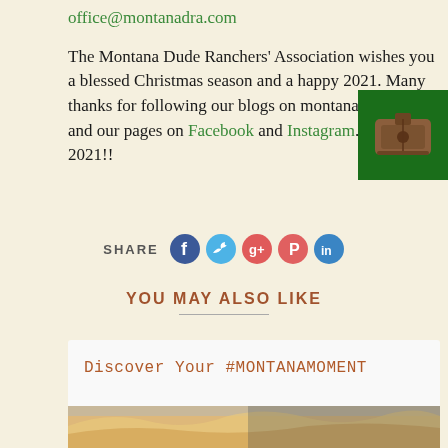office@montanadra.com
The Montana Dude Ranchers' Association wishes you a blessed Christmas season and a happy 2021. Many thanks for following our blogs on montanadra.com and our pages on Facebook and Instagram. See you in 2021!!
[Figure (photo): Small square thumbnail image on green background, showing a brown leather item (possibly a saddle or bag).]
SHARE
[Figure (infographic): Social media share icons: Facebook, Twitter, Google+, Pinterest, LinkedIn]
YOU MAY ALSO LIKE
Discover Your #MONTANAMOMENT
[Figure (photo): Partial photo strip at bottom showing a mountain/landscape scene at dusk.]